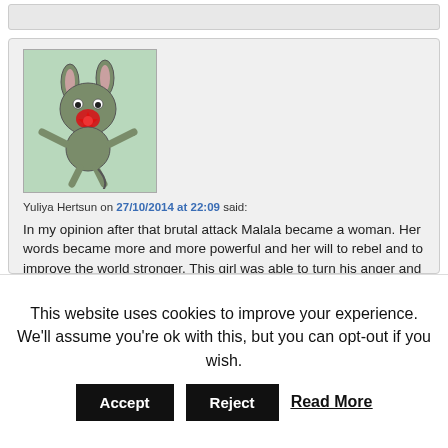[Figure (illustration): Avatar illustration of a cartoon mouse/kangaroo character on a green background, holding a red star/flower, with arms outstretched and a tail below]
Yuliya Hertsun on 27/10/2014 at 22:09 said:
In my opinion after that brutal attack Malala became a woman. Her words became more and more powerful and her will to rebel and to improve the world stronger. This girl was able to turn his anger and pain into courage and action. In fact, she acts for the girls education (a noble cause). Fighting for the female education in situations of extremism it's also a fight for freedom and gender equality, difficult to archieve but not impossible.
This website uses cookies to improve your experience. We'll assume you're ok with this, but you can opt-out if you wish.
Accept   Reject   Read More